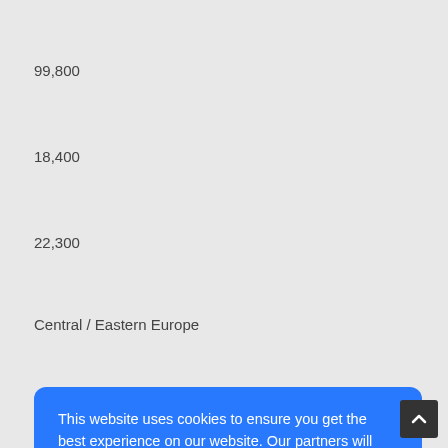99,800
18,400
22,300
Central / Eastern Europe
This website uses cookies to ensure you get the best experience on our website. Our partners will collect data and use cookies for ad personalization and measurement.
Learn how we and our partners collect and use data.
OK